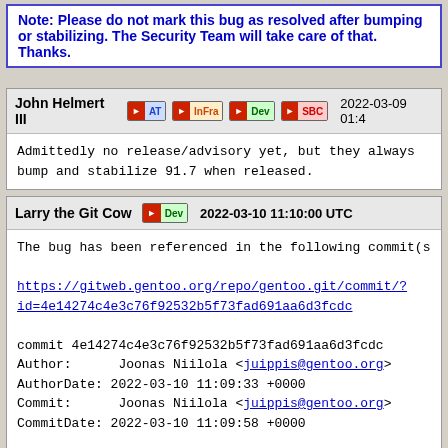Note: Please do not mark this bug as resolved after bumping or stabilizing. The Security Team will take care of that. Thanks.
John Helmert III  AT  InFra  Dev  SBC  2022-03-09 01:4
Admittedly no release/advisory yet, but they always bump and stabilize 91.7 when released.
Larry the Git Cow  Dev  2022-03-10 11:10:00 UTC
The bug has been referenced in the following commit(s)
https://gitweb.gentoo.org/repo/gentoo.git/commit/?id=4e14274c4e3c76f92532b5f73fad691aa6d3fcdc
commit 4e14274c4e3c76f92532b5f73fad691aa6d3fcdc
Author:      Joonas Niilola <juippis@gentoo.org>
AuthorDate: 2022-03-10 11:09:33 +0000
Commit:      Joonas Niilola <juippis@gentoo.org>
CommitDate: 2022-03-10 11:09:58 +0000

    mail-client/thunderbird-bin: drop 91.6.2

    Bug: https://bugs.gentoo.org/834805
    Signed-off-by: Joonas Niilola <juippis@gentoo.org>